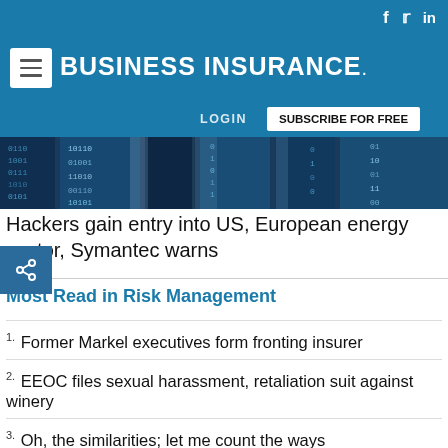BUSINESS INSURANCE
[Figure (screenshot): Business Insurance website header with blue background, hamburger menu, logo, social icons (Facebook, Twitter, LinkedIn), LOGIN and SUBSCRIBE FOR FREE navigation]
[Figure (photo): Cyber/digital themed hero image showing blue binary code and digital patterns]
Hackers gain entry into US, European energy sector, Symantec warns
Most Read in Risk Management
1. Former Markel executives form fronting insurer
2. EEOC files sexual harassment, retaliation suit against winery
3. Oh, the similarities; let me count the ways
4. Everest announces wholesale appointment, hire from Liberty Mutual